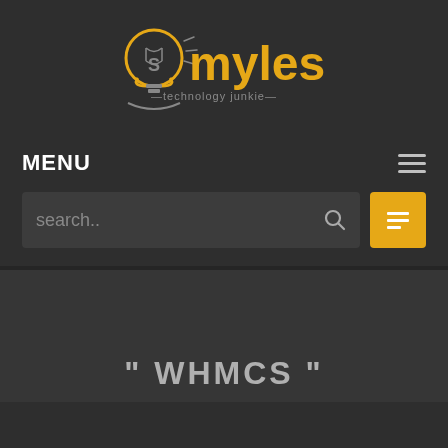[Figure (logo): Smyles technology junkie logo — lightbulb icon with 'S' inside, yellow text 'myles', grey subtitle '—technology junkie—']
MENU
search..
" WHMCS "